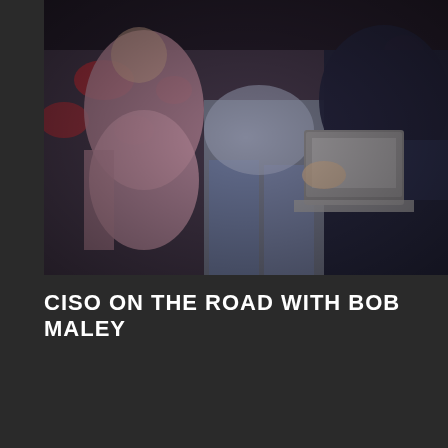[Figure (photo): Blurry/bokeh photo of people sitting in what appears to be a conference or event setting. On the left, a person in a pink/mauve top is seated. In the center-left, a person in jeans is visible. On the right, a person in a dark navy jacket is using or holding a laptop. Red chairs visible in the background.]
CISO ON THE ROAD WITH BOB MALEY